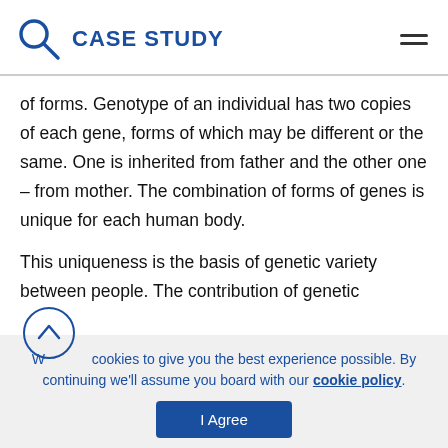CASE STUDY
of forms. Genotype of an individual has two copies of each gene, forms of which may be different or the same. One is inherited from father and the other one – from mother. The combination of forms of genes is unique for each human body.
This uniqueness is the basis of genetic variety between people. The contribution of genetic
We use cookies to give you the best experience possible. By continuing we'll assume you board with our cookie policy.
I Agree